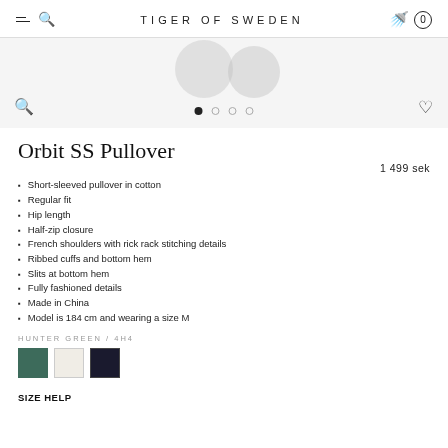TIGER OF SWEDEN
[Figure (photo): Product image area with blurred background circles/blobs, zoom icon, dot navigation indicators, and heart/wishlist icon]
Orbit SS Pullover
1 499 sek
Short-sleeved pullover in cotton
Regular fit
Hip length
Half-zip closure
French shoulders with rick rack stitching details
Ribbed cuffs and bottom hem
Slits at bottom hem
Fully fashioned details
Made in China
Model is 184 cm and wearing a size M
HUNTER GREEN / 4H4
[Figure (illustration): Three color swatches: hunter green, cream/off-white, navy/dark]
SIZE HELP